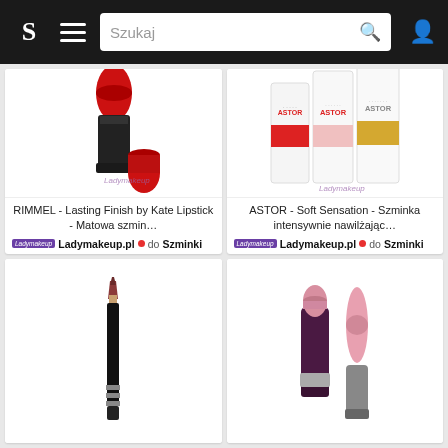S  ≡  Szukaj  🔍  👤
[Figure (photo): RIMMEL red lipstick product photo - Lasting Finish by Kate Lipstick]
RIMMEL - Lasting Finish by Kate Lipstick - Matowa szmin…
Ladymakeup.pl  do  Szminki
[Figure (photo): ASTOR Soft Sensation lipstick product photo - three white boxes]
ASTOR - Soft Sensation - Szminka intensywnie nawilżając…
Ladymakeup.pl  do  Szminki
[Figure (photo): Black lip liner pencil with brown/red tip]
[Figure (photo): Rimmel lip colour pink lipstick in dark purple packaging with bullet visible]